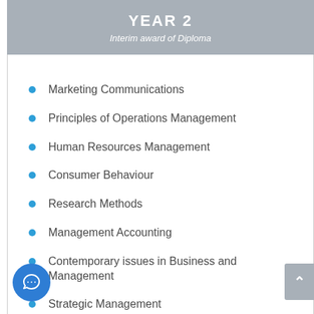YEAR 2
Interim award of Diploma
Marketing Communications
Principles of Operations Management
Human Resources Management
Consumer Behaviour
Research Methods
Management Accounting
Contemporary issues in Business and Management
Strategic Management